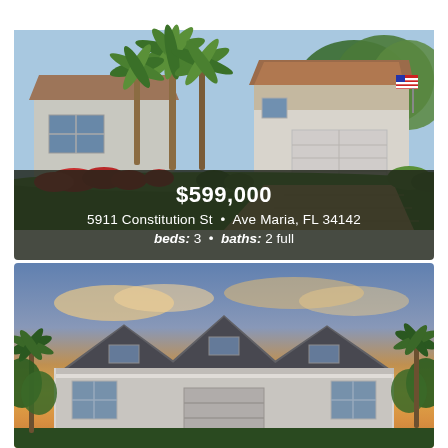[Figure (photo): Exterior photo of a single-story Florida home with palm trees, red flowering shrubs, white stucco exterior, two-car garage, and American flag. Daytime photo with lush green landscaping.]
$599,000
5911 Constitution St • Ave Maria, FL 34142
beds: 3 • baths: 2 full
[Figure (photo): Rendering or photo of a modern single-story home with gray siding, dark roof, multiple peaked gables, at sunset with orange and pink sky. Palm trees and tropical vegetation visible on sides.]